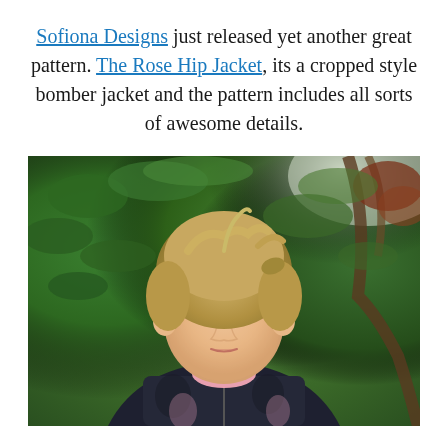Sofiona Designs just released yet another great pattern. The Rose Hip Jacket, its a cropped style bomber jacket and the pattern includes all sorts of awesome details.
[Figure (photo): A young blonde girl wearing a dark navy/black floral bomber jacket with pink collar, standing in front of green foliage and trees, looking directly at the camera.]